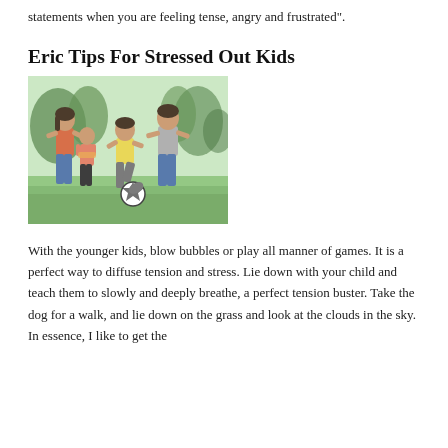statements when you are feeling tense, angry and frustrated".
Eric Tips For Stressed Out Kids
[Figure (photo): A family of four — mother, father, daughter, and son — running and playing outdoors in a park. The young boy in a yellow shirt is kicking a soccer ball. Trees are visible in the background.]
With the younger kids, blow bubbles or play all manner of games. It is a perfect way to diffuse tension and stress. Lie down with your child and teach them to slowly and deeply breathe, a perfect tension buster. Take the dog for a walk, and lie down on the grass and look at the clouds in the sky. In essence, I like to get the